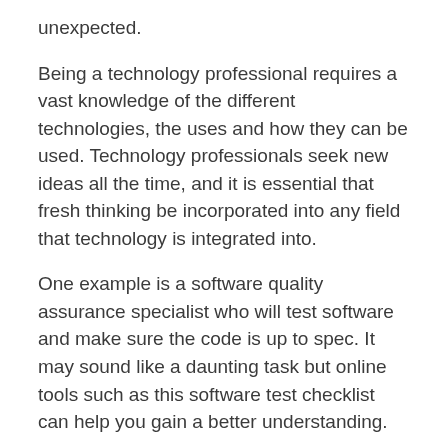unexpected.
Being a technology professional requires a vast knowledge of the different technologies, the uses and how they can be used. Technology professionals seek new ideas all the time, and it is essential that fresh thinking be incorporated into any field that technology is integrated into.
One example is a software quality assurance specialist who will test software and make sure the code is up to spec. It may sound like a daunting task but online tools such as this software test checklist can help you gain a better understanding.
Explore Your Career Options in the Field of Technology